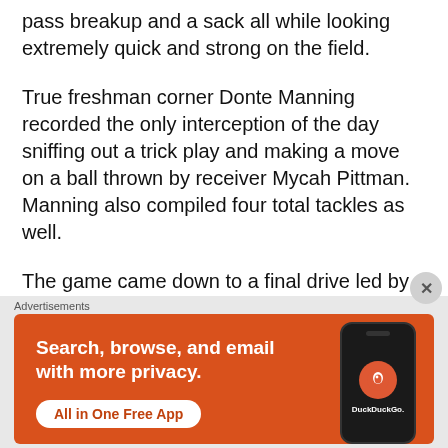pass breakup and a sack all while looking extremely quick and strong on the field.
True freshman corner Donte Manning recorded the only interception of the day sniffing out a trick play and making a move on a ball thrown by receiver Mycah Pittman. Manning also compiled four total tackles as well.
The game came down to a final drive led by dual-sport athlete Robby Ashford. Ashford, who splits time between being a quarterback for Mario
Advertisements
[Figure (screenshot): DuckDuckGo advertisement banner with orange background showing a phone mockup and text: Search, browse, and email with more privacy. All in One Free App. DuckDuckGo.]